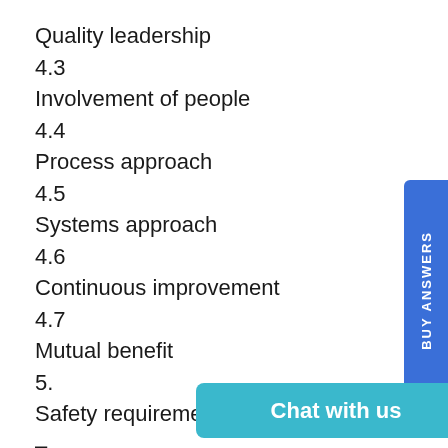Quality leadership
4.3
Involvement of people
4.4
Process approach
4.5
Systems approach
4.6
Continuous improvement
4.7
Mutual benefit
5.
Safety requirements, including:
–
/15
5.1
Safety manag